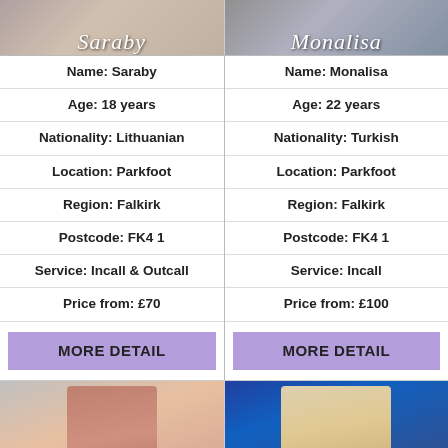[Figure (photo): Top half of page: two profile photos side by side. Left photo shows 'Saraby', right photo shows 'Monalisa', with their names overlaid in italic script at the bottom of each image.]
| Name: Saraby | Name: Monalisa |
| Age: 18 years | Age: 22 years |
| Nationality: Lithuanian | Nationality: Turkish |
| Location: Parkfoot | Location: Parkfoot |
| Region: Falkirk | Region: Falkirk |
| Postcode: FK4 1 | Postcode: FK4 1 |
| Service: Incall & Outcall | Service: Incall |
| Price from: £70 | Price from: £100 |
| MORE DETAIL | MORE DETAIL |
[Figure (photo): Bottom strip: two more profile photos side by side. Left shows a woman in red clothing with dark hair, right shows a blonde woman against a sparkly blue background.]